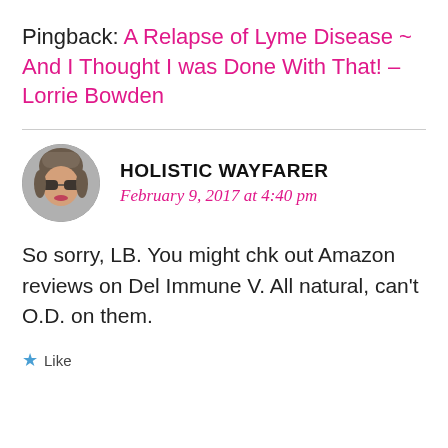Pingback: A Relapse of Lyme Disease ~ And I Thought I was Done With That! – Lorrie Bowden
HOLISTIC WAYFARER
February 9, 2017 at 4:40 pm
So sorry, LB. You might chk out Amazon reviews on Del Immune V. All natural, can't O.D. on them.
Like